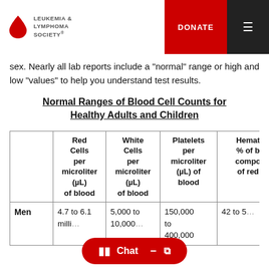Leukemia & Lymphoma Society | DONATE
sex. Nearly all lab reports include a "normal" range or high and low "values" to help you understand test results.
Normal Ranges of Blood Cell Counts for Healthy Adults and Children
|  | Red Cells per microliter (µL) of blood | White Cells per microliter (µL) of blood | Platelets per microliter (µL) of blood | Hemat % of b compo of red |
| --- | --- | --- | --- | --- |
| Men | 4.7 to 6.1 milli... | 5,000 to 10,000... | 150,000 to 400,000 | 42 to 5... |